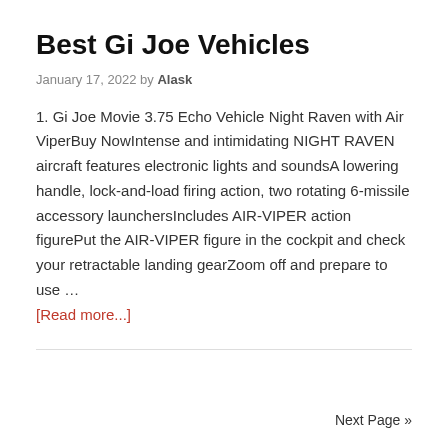Best Gi Joe Vehicles
January 17, 2022 by Alask
1. Gi Joe Movie 3.75 Echo Vehicle Night Raven with Air ViperBuy NowIntense and intimidating NIGHT RAVEN aircraft features electronic lights and soundsA lowering handle, lock-and-load firing action, two rotating 6-missile accessory launchersIncludes AIR-VIPER action figurePut the AIR-VIPER figure in the cockpit and check your retractable landing gearZoom off and prepare to use … [Read more...]
Next Page »